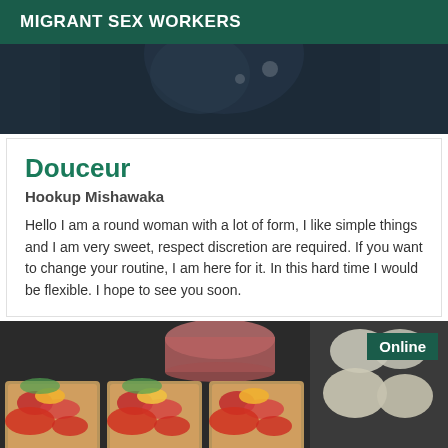MIGRANT SEX WORKERS
[Figure (photo): Dark blurred photo of a person, cropped showing lower face/neck area against dark background]
Douceur
Hookup Mishawaka
Hello I am a round woman with a lot of form, I like simple things and I am very sweet, respect discretion are required. If you want to change your routine, I am here for it. In this hard time I would be flexible. I hope to see you soon.
[Figure (photo): Photo of multiple food containers with salads and cooked food, arranged on a dark surface. Online badge in top right corner.]